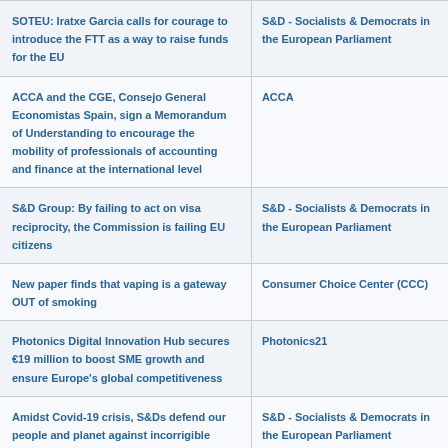| Title | Source |
| --- | --- |
| SOTEU: Iratxe Garcia calls for courage to introduce the FTT as a way to raise funds for the EU | S&D - Socialists & Democrats in the European Parliament |
| ACCA and the CGE, Consejo General Economistas Spain, sign a Memorandum of Understanding to encourage the mobility of professionals of accounting and finance at the international level | ACCA |
| S&D Group: By failing to act on visa reciprocity, the Commission is failing EU citizens | S&D - Socialists & Democrats in the European Parliament |
| New paper finds that vaping is a gateway OUT of smoking | Consumer Choice Center (CCC) |
| Photonics Digital Innovation Hub secures €19 million to boost SME growth and ensure Europe's global competitiveness | Photonics21 |
| Amidst Covid-19 crisis, S&Ds defend our people and planet against incorrigible austerity ideologues | S&D - Socialists & Democrats in the European Parliament |